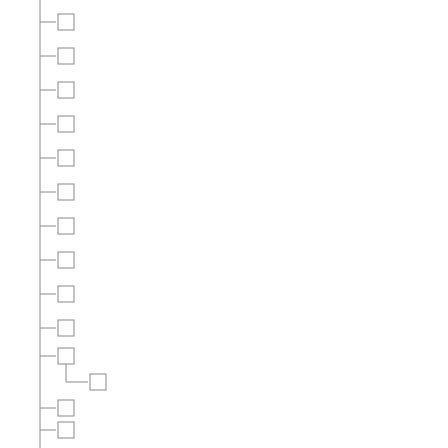[Figure (flowchart): A vertical tree/outline structure with a vertical line on the left side. Each item is represented by a horizontal branch line (├─) followed by a small rectangle (checkbox). One item near the bottom has an indented child item with an L-shaped branch (└─) and its own small rectangle. There are approximately 16 top-level items and 1 child item, all rendered with thin gray lines and empty rectangles, and no text labels visible.]